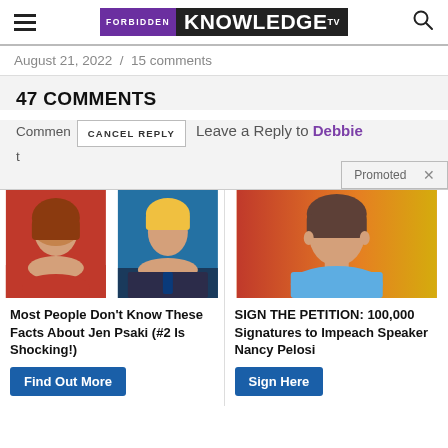Forbidden Knowledge TV
August 21, 2022 / 15 comments
47 COMMENTS
Comment | CANCEL REPLY | Leave a Reply to Debbie
Promoted X
[Figure (photo): Two photos side by side: a woman with reddish-brown hair in a red top, and a man with blond hair in a suit and tie against a blue background]
Most People Don't Know These Facts About Jen Psaki (#2 Is Shocking!)
Find Out More
[Figure (photo): A woman with brown hair in a light blue top against an orange background]
SIGN THE PETITION: 100,000 Signatures to Impeach Speaker Nancy Pelosi
Sign Here